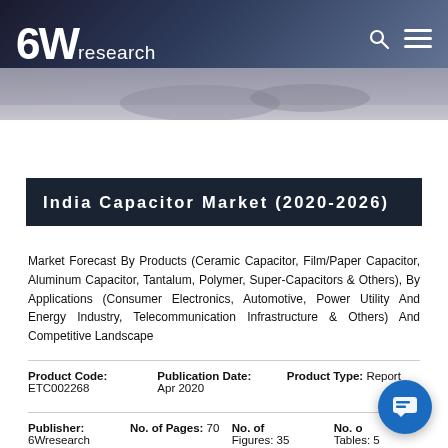6W research
[Figure (photo): Hands working at a desk, blurred background photo used as banner]
India Capacitor Market (2020-2026)
Market Forecast By Products (Ceramic Capacitor, Film/Paper Capacitor, Aluminum Capacitor, Tantalum, Polymer, Super-Capacitors & Others), By Applications (Consumer Electronics, Automotive, Power Utility And Energy Industry, Telecommunication Infrastructure & Others) And Competitive Landscape
| Product Code: | Publication Date: | Product Type: |
| --- | --- | --- |
| ETC002268 | Apr 2020 | Report |
| Publisher: | No. of Pages: | No. of Figures: | No. of Tables: |
| --- | --- | --- | --- |
| 6Wresearch | 70 | 35 | 5 |